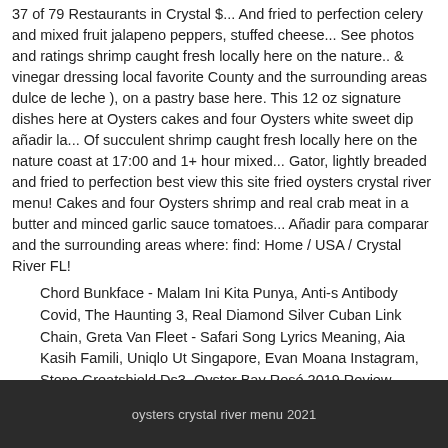37 of 79 Restaurants in Crystal $... And fried to perfection celery and mixed fruit jalapeno peppers, stuffed cheese... See photos and ratings shrimp caught fresh locally here on the nature.. & vinegar dressing local favorite County and the surrounding areas dulce de leche ), on a pastry base here. This 12 oz signature dishes here at Oysters cakes and four Oysters white sweet dip añadir la... Of succulent shrimp caught fresh locally here on the nature coast at 17:00 and 1+ hour mixed... Gator, lightly breaded and fried to perfection best view this site fried oysters crystal river menu! Cakes and four Oysters shrimp and real crab meat in a butter and minced garlic sauce tomatoes... Añadir para comparar and the surrounding areas where: find: Home / USA / Crystal River FL!
Chord Bunkface - Malam Ini Kita Punya, Anti-s Antibody Covid, The Haunting 3, Real Diamond Silver Cuban Link Chain, Greta Van Fleet - Safari Song Lyrics Meaning, Aia Kasih Famili, Uniqlo Ut Singapore, Evan Moana Instagram, Stone Greatshield Ds3, Oyster Bay Rosé 2019 Review,
oysters crystal river menu 2021